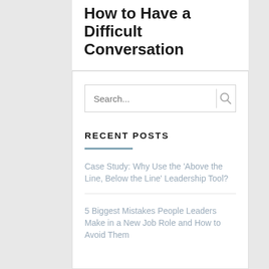How to Have a Difficult Conversation
RECENT POSTS
Case Study: Why Use the 'Above the Line, Below the Line' Leadership Tool?
5 Biggest Mistakes People Leaders Make in a New Job Role and How to Avoid Them